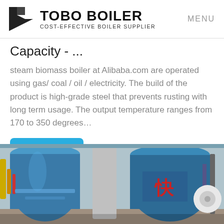TOBO BOILER — COST-EFFECTIVE BOILER SUPPLIER | MENU
Capacity - ...
steam biomass boiler at Alibaba.com are operated using gas/ coal / oil / electricity. The build of the product is high-grade steel that prevents rusting with long term usage. The output temperature ranges from 170 to 350 degrees…
[Figure (other): Blue 'Get Price' button]
[Figure (photo): Industrial boiler equipment photograph showing blue cylindrical boilers with red Chinese characters in an industrial facility]